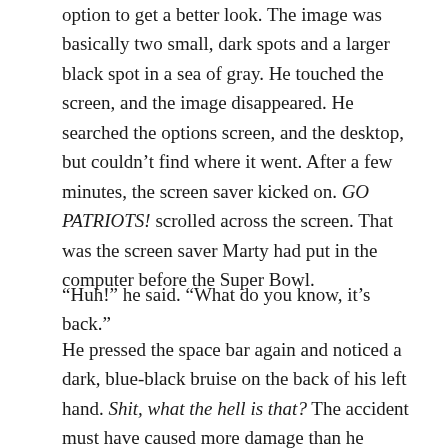option to get a better look. The image was basically two small, dark spots and a larger black spot in a sea of gray. He touched the screen, and the image disappeared. He searched the options screen, and the desktop, but couldn't find where it went. After a few minutes, the screen saver kicked on. GO PATRIOTS! scrolled across the screen. That was the screen saver Marty had put in the computer before the Super Bowl.
“Huh!” he said. “What do you know, it’s back.”
He pressed the space bar again and noticed a dark, blue-black bruise on the back of his left hand. Shit, what the hell is that? The accident must have caused more damage than he realized. Glancing down at the back of his hand, he could have sworn he’d seen the